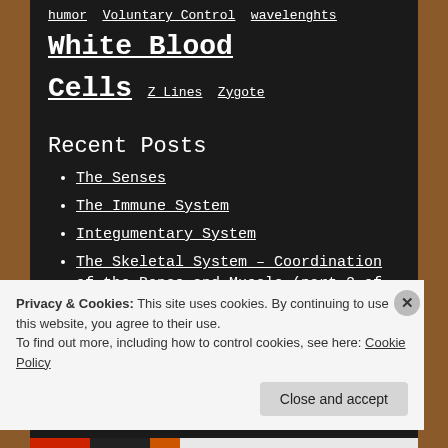humor Voluntary Control wavelenghts White Blood Cells Z Lines Zygote
Recent Posts
The Senses
The Immune System
Integumentary System
The Skeletal System – Coordination of the Bones and Muscle (part 2 of 2)
The Skeletal System (part 1 of 2)
Privacy & Cookies: This site uses cookies. By continuing to use this website, you agree to their use.
To find out more, including how to control cookies, see here: Cookie Policy